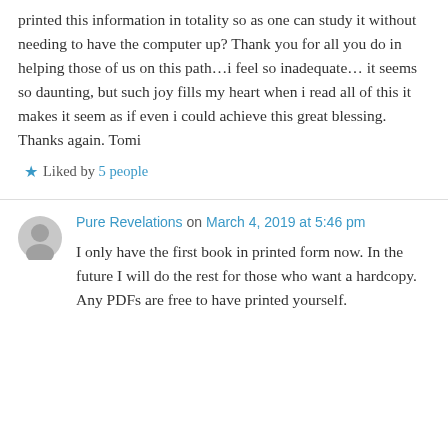printed this information in totality so as one can study it without needing to have the computer up? Thank you for all you do in helping those of us on this path…i feel so inadequate… it seems so daunting, but such joy fills my heart when i read all of this it makes it seem as if even i could achieve this great blessing. Thanks again. Tomi
★ Liked by 5 people
Pure Revelations on March 4, 2019 at 5:46 pm
I only have the first book in printed form now. In the future I will do the rest for those who want a hardcopy. Any PDFs are free to have printed yourself.